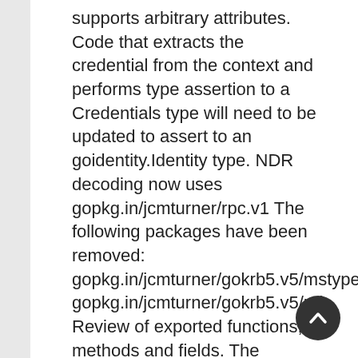supports arbitrary attributes. Code that extracts the credential from the context and performs type assertion to a Credentials type will need to be updated to assert to an goidentity.Identity type. NDR decoding now uses gopkg.in/jcmturner/rpc.v1 The following packages have been removed: gopkg.in/jcmturner/gokrb5.v5/mstypes gopkg.in/jcmturner/gokrb5.v5/ndr Review of exported functions, methods and fields. The following have been made private: